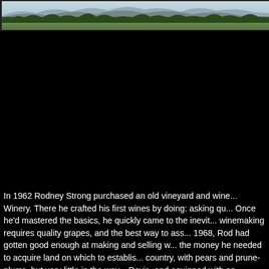[Figure (photo): Landscape photograph showing a rural countryside scene with rolling hills, mountains in the background, trees in the middle ground, and fields in the foreground. Muted greens and blues.]
In 1962 Rodney Strong purchased an old vineyard and winery. There he crafted his first wines by doing: asking questions. Once he'd mastered the basics, he quickly came to the inevitable conclusion: winemaking requires quality grapes, and the best way to assure that. By 1968, Rod had gotten good enough at making and selling wines to have earned the money he needed to acquire land on which to establish vineyards. The country, with pears and prune-plums, but very little in the way of grapes. Davis, and equipped with an uncanny, visionary approach...